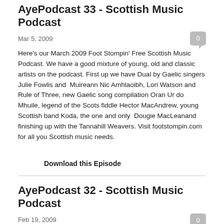AyePodcast 33 - Scottish Music Podcast
Mar 5, 2009
Here's our March 2009 Foot Stompin' Free Scottish Music Podcast. We have a good mixture of young, old and classic artists on the podcast. First up we have Dual by Gaelic singers Julie Fowlis and  Muireann Nic Amhlaoibh, Lori Watson and Rule of Three, new Gaelic song compilation Oran Ur do Mhuile, legend of the Scots fiddle Hector MacAndrew, young Scottish band Koda, the one and only  Dougie MacLeanand finishing up with the Tannahill Weavers. Visit footstompin.com for all you Scottish music needs.
Download this Episode
AyePodcast 32 - Scottish Music Podcast
Feb 19, 2009
Here's our mid-February 2009 Free Foot Stompin' Scottish Music Podcast. We have a feast of Scottish music in this programme. First up is Breabach from their Big Spree CD, then Findlay Napier and the Bar Room Mountaineers play George from their Out All Night album. Next up is guitar maestro Tony McManus, then the Paul McKenna Band featuring the 2009